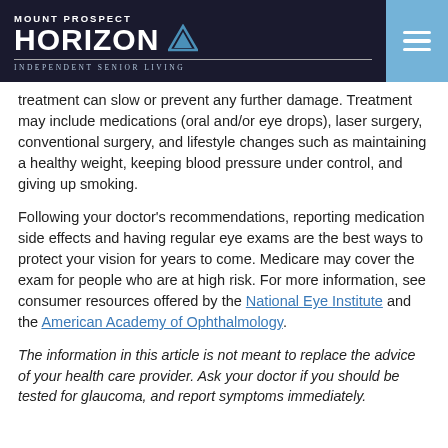MOUNT PROSPECT HORIZON Independent Senior Living
treatment can slow or prevent any further damage. Treatment may include medications (oral and/or eye drops), laser surgery, conventional surgery, and lifestyle changes such as maintaining a healthy weight, keeping blood pressure under control, and giving up smoking.
Following your doctor’s recommendations, reporting medication side effects and having regular eye exams are the best ways to protect your vision for years to come. Medicare may cover the exam for people who are at high risk. For more information, see consumer resources offered by the National Eye Institute and the American Academy of Ophthalmology.
The information in this article is not meant to replace the advice of your health care provider. Ask your doctor if you should be tested for glaucoma, and report symptoms immediately.